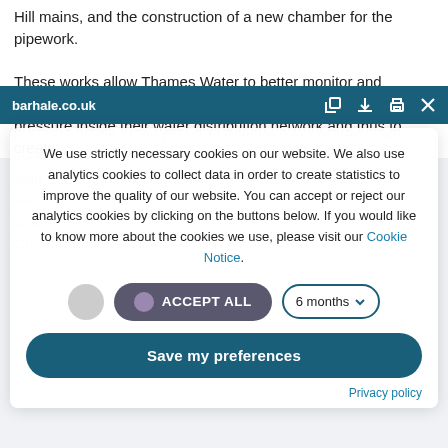Hill mains, and the construction of a new chamber for the pipework.
These works allow Thames Water to better monitor and manage the pressure inside their water distribution network and thus to create
barhale.co.uk
accurate profile of the pressure management of clean water inlet high...
We use strictly necessary cookies on our website. We also use analytics cookies to collect data in order to create statistics to improve the quality of our website. You can accept or reject our analytics cookies by clicking on the buttons below. If you would like to know more about the cookies we use, please visit our Cookie Notice.
ACCEPT ALL
6 months
Save my preferences
Privacy policy